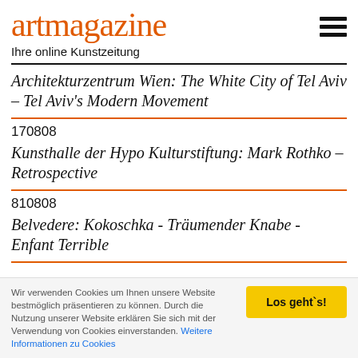artmagazine
Ihre online Kunstzeitung
Architekturzentrum Wien: The White City of Tel Aviv – Tel Aviv's Modern Movement
170808
Kunsthalle der Hypo Kulturstiftung: Mark Rothko – Retrospective
810808
Belvedere: Kokoschka - Träumender Knabe - Enfant Terrible
Wir verwenden Cookies um Ihnen unsere Website bestmöglich präsentieren zu können. Durch die Nutzung unserer Website erklären Sie sich mit der Verwendung von Cookies einverstanden. Weitere Informationen zu Cookies